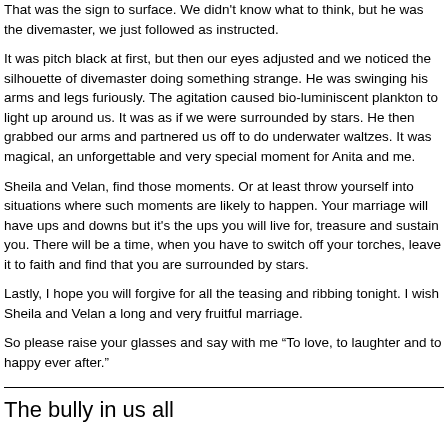That was the sign to surface. We didn't know what to think, but he was the divemaster, we just followed as instructed.
It was pitch black at first, but then our eyes adjusted and we noticed the silhouette of divemaster doing something strange. He was swinging his arms and legs furiously. The agitation caused bio-luminiscent plankton to light up around us. It was as if we were surrounded by stars. He then grabbed our arms and partnered us off to do underwater waltzes. It was magical, an unforgettable and very special moment for Anita and me.
Sheila and Velan, find those moments. Or at least throw yourself into situations where such moments are likely to happen. Your marriage will have ups and downs but it's the ups you will live for, treasure and sustain you. There will be a time, when you have to switch off your torches, leave it to faith and find that you are surrounded by stars.
Lastly, I hope you will forgive for all the teasing and ribbing tonight. I wish Sheila and Velan a long and very fruitful marriage.
So please raise your glasses and say with me “To love, to laughter and to happy ever after.”
The bully in us all